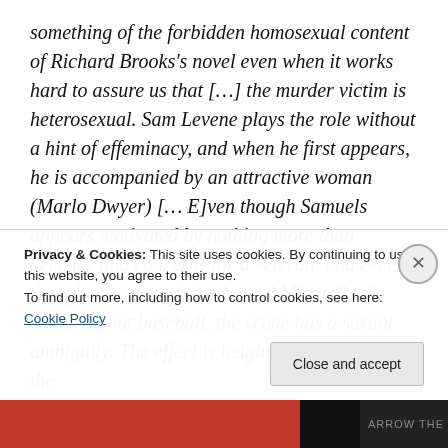something of the forbidden homosexual content of Richard Brooks's novel even when it works hard to assure us that […] the murder victim is heterosexual. Sam Levene plays the role without a hint of effeminacy, and when he first appears, he is accompanied by an attractive woman (Marlo Dwyer) [… E]ven though Samuels appears motivated by nothing more than decency and concerns for a veteran, and even though we are told that he and Mitchell talk mostly about baseball, the scene has a sexual ambiguity. The effect is heightened because of the Socratic intensity of the conversation, because the actor
Privacy & Cookies: This site uses cookies. By continuing to use this website, you agree to their use.
To find out more, including how to control cookies, see here: Cookie Policy
Close and accept